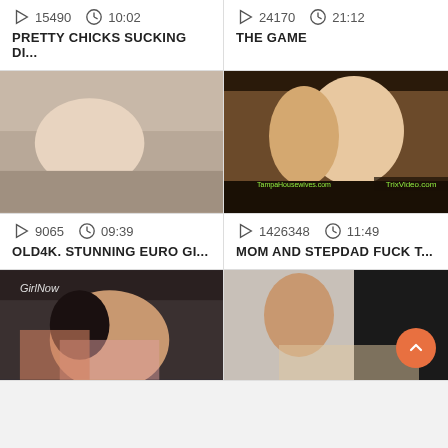15490  10:02
PRETTY CHICKS SUCKING DI...
24170  21:12
THE GAME
[Figure (photo): Video thumbnail of adult content]
[Figure (photo): Video thumbnail of couple]
9065  09:39
OLD4K. STUNNING EURO GI...
1426348  11:49
MOM AND STEPDAD FUCK T...
[Figure (photo): Video thumbnail of adult content]
[Figure (photo): Video thumbnail of adult content]